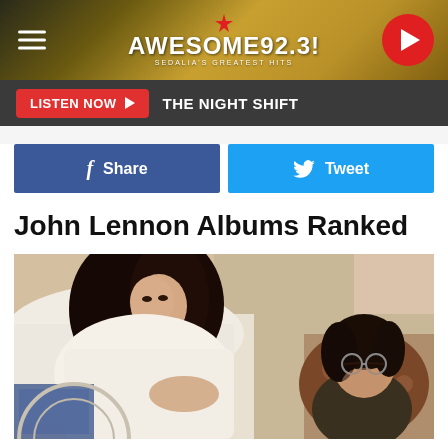[Figure (screenshot): Awesome 92.3 radio station website header with hamburger menu, logo, and play button on gold/dark background]
[Figure (screenshot): Listen Now button bar with dark background showing 'LISTEN NOW' in red button and 'THE NIGHT SHIFT' in white text]
[Figure (screenshot): Facebook Share and Twitter Tweet social sharing buttons]
John Lennon Albums Ranked
[Figure (photo): Photo of Yoko Ono and John Lennon in bed, Yoko with long dark hair wearing white, John with round glasses reclining]